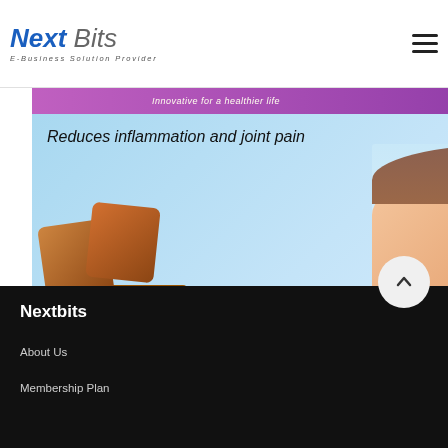Next Bits — E-Business Solution Provider
[Figure (photo): Website banner showing health product mat and woman with text 'Reduces inflammation and joint pain', along with a gems/crystals image below]
Nextbits
About Us
Membership Plan